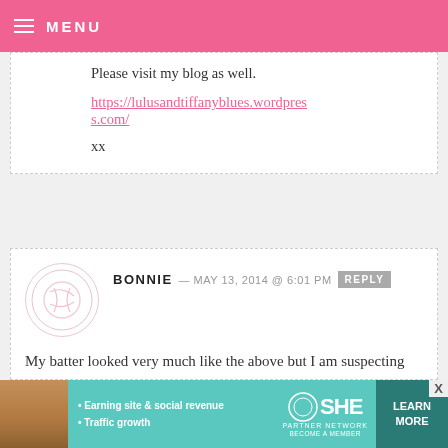MENU
Please visit my blog as well.
https://lulusandtiffanyblues.wordpress.com/
xx
BONNIE — MAY 13, 2014 @ 6:01 PM [REPLY]
My batter looked very much like the above but I am suspecting the butter at the moment....I had browned some butter to use in another recipe and used the remnants of that (about 1/2 c)
[Figure (infographic): Advertisement banner for SHE Partner Network with text: Earning site & social revenue, Traffic growth, LEARN MORE, BECOME A MEMBER]